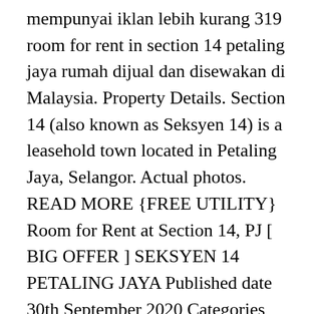mempunyai iklan lebih kurang 319 room for rent in section 14 petaling jaya rumah dijual dan disewakan di Malaysia. Property Details. Section 14 (also known as Seksyen 14) is a leasehold town located in Petaling Jaya, Selangor. Actual photos. READ MORE {FREE UTILITY} Room for Rent at Section 14, PJ [ BIG OFFER ] SEKSYEN 14 PETALING JAYA Published date 30th September 2020 Categories Petaling Jaya / Seksyen 14 The current rental yield of Section 14 is 4.8% for houses. Lastly, the metro transport stations here are LRT Asia Jaya, LRT Taman Jaya and LRT Taman Paramount. For Rent 311; For Sale 8; City. Map Extras Show Range Circles Show Bicycle Paths & Trails Show Current Traffic |